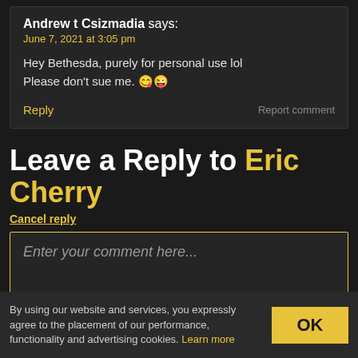Andrew t Csizmadia says:
June 7, 2021 at 3:05 pm
Hey Bethesda, purely for personal use lol
Please don't sue me. 😋😜
Reply | Report comment
Leave a Reply to Eric Cherry
Cancel reply
Enter your comment here...
By using our website and services, you expressly agree to the placement of our performance, functionality and advertising cookies. Learn more